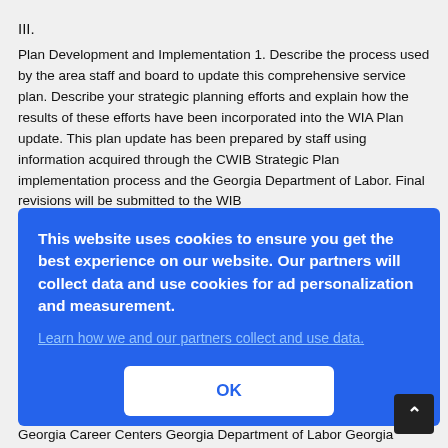III.
Plan Development and Implementation 1. Describe the process used by the area staff and board to update this comprehensive service plan. Describe your strategic planning efforts and explain how the results of these efforts have been incorporated into the WIA Plan update. This plan update has been prepared by staff using information acquired through the CWIB Strategic Plan implementation process and the Georgia Department of Labor. Final revisions will be submitted to the WIB
ess
within
Georgia Career Centers Georgia Department of Labor Georgia
[Figure (screenshot): Cookie consent overlay dialog on blue background. Text reads: 'This website uses cookies to ensure you get the best experience on our website. Our partners will collect data and use cookies for ad personalization and measurement. Learn how we and our partners collect and use data.' with an OK button.]